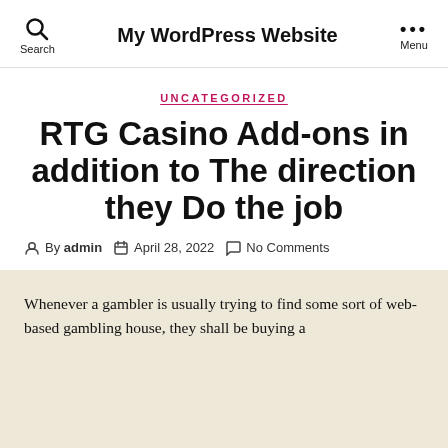My WordPress Website
UNCATEGORIZED
RTG Casino Add-ons in addition to The direction they Do the job
By admin   April 28, 2022   No Comments
Whenever a gambler is usually trying to find some sort of web-based gambling house, they shall be buying a